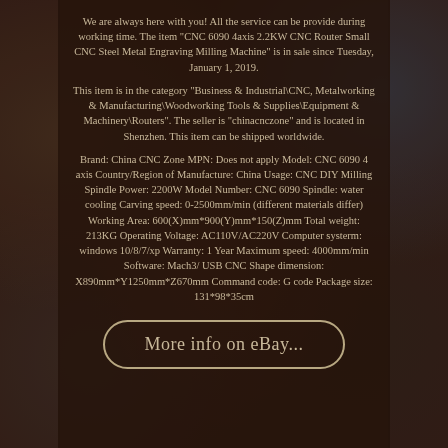We are always here with you! All the service can be provide during working time. The item "CNC 6090 4axis 2.2KW CNC Router Small CNC Steel Metal Engraving Milling Machine" is in sale since Tuesday, January 1, 2019.
This item is in the category "Business & Industrial\CNC, Metalworking & Manufacturing\Woodworking Tools & Supplies\Equipment & Machinery\Routers". The seller is "chinacnczone" and is located in Shenzhen. This item can be shipped worldwide.
Brand: China CNC Zone MPN: Does not apply Model: CNC 6090 4 axis Country/Region of Manufacture: China Usage: CNC DIY Milling Spindle Power: 2200W Model Number: CNC 6090 Spindle: water cooling Carving speed: 0-2500mm/min (different materials differ) Working Area: 600(X)mm*900(Y)mm*150(Z)mm Total weight: 213KG Operating Voltage: AC110V/AC220V Computer systerm: windows 10/8/7/xp Warranty: 1 Year Maximum speed: 4000mm/min Software: Mach3/ USB CNC Shape dimension: X890mm*Y1250mm*Z670mm Command code: G code Package size: 131*98*35cm
More info on eBay...